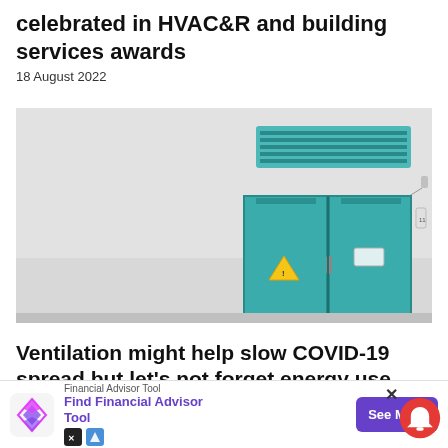celebrated in HVAC&R and building services awards
18 August 2022
[Figure (photo): Photo of a room with teal/green double doors and a ceiling-mounted HVAC unit above, set against a light grey wall. A warning triangle sticker is visible on the left door.]
Ventilation might help slow COVID-19 spread but let’s not forget energy use
7 May 2020
Financial Advisor Tool
Find Financial Advisor Tool
See More